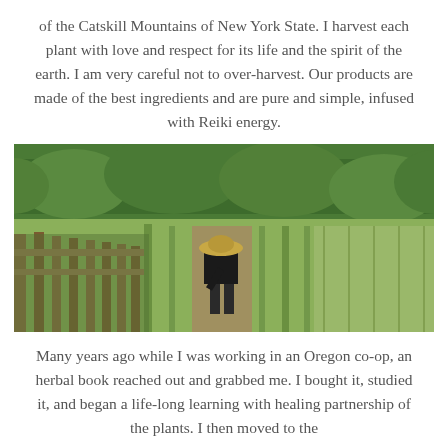of the Catskill Mountains of New York State. I harvest each plant with love and respect for its life and the spirit of the earth. I am very careful not to over-harvest. Our products are made of the best ingredients and are pure and simple, infused with Reiki energy.
[Figure (photo): A person wearing a wide-brimmed hat bending over in a garden field with rows of plants, a wooden fence on the left, and dense green forest trees in the background.]
Many years ago while I was working in an Oregon co-op, an herbal book reached out and grabbed me. I bought it, studied it, and began a life-long learning with healing partnership of the plants. I then moved to the